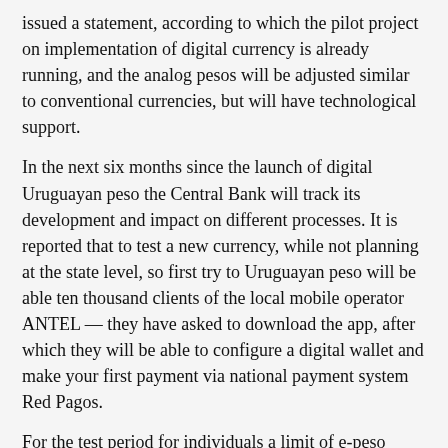issued a statement, according to which the pilot project on implementation of digital currency is already running, and the analog pesos will be adjusted similar to conventional currencies, but will have technological support.
In the next six months since the launch of digital Uruguayan peso the Central Bank will track its development and impact on different processes. It is reported that to test a new currency, while not planning at the state level, so first try to Uruguayan peso will be able ten thousand clients of the local mobile operator ANTEL — they have asked to download the app, after which they will be able to configure a digital wallet and make your first payment via national payment system Red Pagos.
For the test period for individuals a limit of e-peso equal to one thousand dollars, and for legal — five thousand.
According to representatives of the Bank and the government of Uruguay, the introduction of digital peso chart allow you to save on printing plain money and make transactions with state-controlled currency more transparent. The production cost of cash is quite high and often together with developing and printing is up to ten percent of the face value of the banknote. But